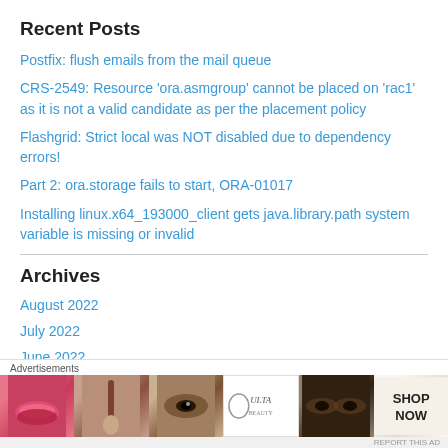Recent Posts
Postfix: flush emails from the mail queue
CRS-2549: Resource 'ora.asmgroup' cannot be placed on 'rac1' as it is not a valid candidate as per the placement policy
Flashgrid: Strict local was NOT disabled due to dependency errors!
Part 2: ora.storage fails to start, ORA-01017
Installing linux.x64_193000_client gets java.library.path system variable is missing or invalid
Archives
August 2022
July 2022
June 2022
[Figure (infographic): Ulta Beauty advertisement banner with makeup images and SHOP NOW text]
Advertisements